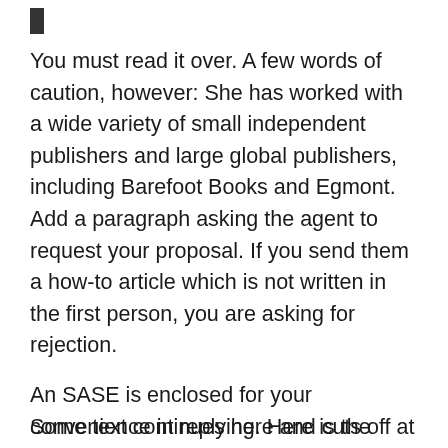▌
You must read it over. A few words of caution, however: She has worked with a wide variety of small independent publishers and large global publishers, including Barefoot Books and Egmont. Add a paragraph asking the agent to request your proposal. If you send them a how-to article which is not written in the first person, you are asking for rejection.
An SASE is enclosed for your convenience in replying. Here is the query letter writer Peggy Vincent sent to agents: That is over 6, words in a chapter. Baby Catcher, written by a licensed midwife with one foot on the home birth side of the ideological fence but with the other one firmly planted in Western medical tradition, will have an even broader appeal.
Some text starts here in the lower part...